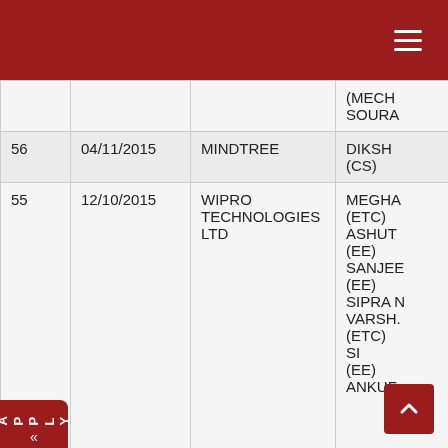| # | Date | Company | Students |
| --- | --- | --- | --- |
|  |  |  | (MECH
SOURA |
| 56 | 04/11/2015 | MINDTREE | DIKSH
(CS) |
| 55 | 12/10/2015 | WIPRO TECHNOLOGIES LTD | MEGHA
(ETC)
ASHUT
(EE)
SANJEE
(EE)
SIPRA N
VARSH.
(ETC)
SI
(EE)
ANKUF |